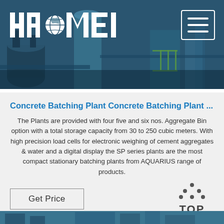[Figure (screenshot): Haomei logo and hamburger menu button overlaid on industrial concrete batching plant machinery background photo]
Concrete Batching Plant Concrete Batching Plant ...
The Plants are provided with four five and six nos. Aggregate Bin option with a total storage capacity from 30 to 250 cubic meters. With high precision load cells for electronic weighing of cement aggregates & water and a digital display the SP series plants are the most compact stationary batching plants from AQUARIUS range of products.
[Figure (other): Get Price button and TOP scroll-to-top icon]
[Figure (photo): Partial view of industrial concrete batching plant equipment at bottom of page]